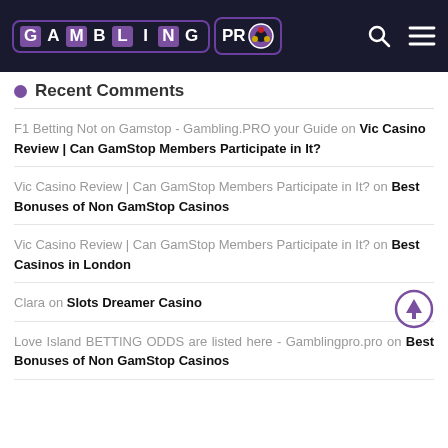GAMBLING PRO [logo with gambling chip]
Recent Comments
F1 Betting Not on Gamstop - Gambling.PRO your Guide on Vic Casino Review | Can GamStop Members Participate in It?
Vic Casino Review | Can GamStop Members Participate in It? on Best Bonuses of Non GamStop Casinos
Vic Casino Review | Can GamStop Members Participate in It? on Best Casinos in London
Clara on Slots Dreamer Casino
Love Island BETTING ODDS are listed here - Gamblingpro.pro on Best Bonuses of Non GamStop Casinos